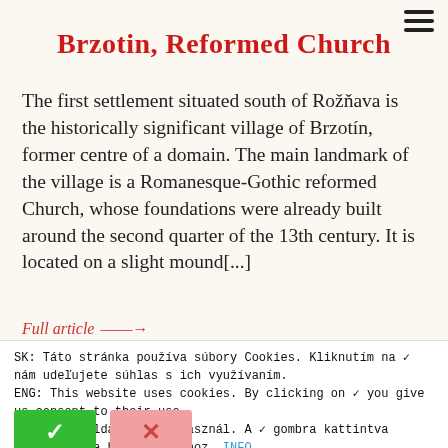Brzotin, Reformed Church
The first settlement situated south of Rožňava is the historically significant village of Brzotín, former centre of a domain. The main landmark of the village is a Romanesque-Gothic reformed Church, whose foundations were already built around the second quarter of the 13th century. It is located on a slight mound[...]
Full article ——→
SK: Táto stránka používa súbory Cookies. Kliknutím na ✓ nám udeľujete súhlas s ich využívaním.
ENG: This website uses cookies. By clicking on ✓ you give us consent to their use.
HU: Ez az oldal cookie használ. A ✓ gombra kattintva hozzájárul a használatukhoz. INFO